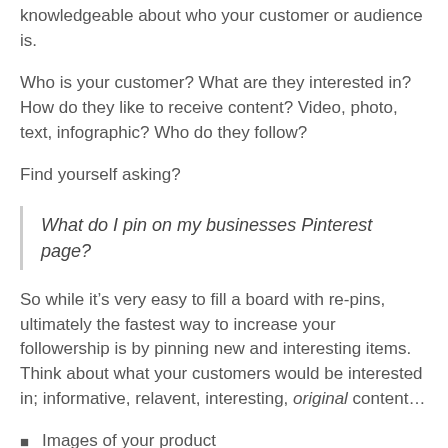knowledgeable about who your customer or audience is.
Who is your customer? What are they interested in? How do they like to receive content? Video, photo, text, infographic? Who do they follow?
Find yourself asking?
What do I pin on my businesses Pinterest page?
So while it’s very easy to fill a board with re-pins, ultimately the fastest way to increase your followership is by pinning new and interesting items. Think about what your customers would be interested in; informative, relavent, interesting, original content…
Images of your product